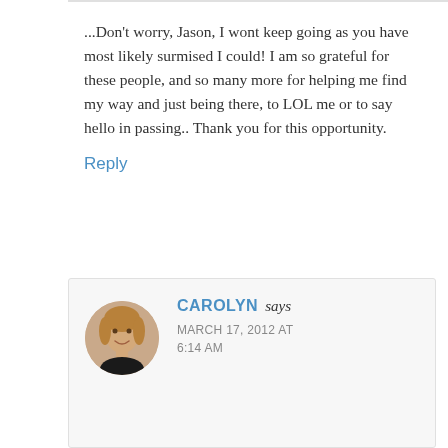...Don't worry, Jason, I wont keep going as you have most likely surmised I could! I am so grateful for these people, and so many more for helping me find my way and just being there, to LOL me or to say hello in passing.. Thank you for this opportunity.
Reply
CAROLYN says MARCH 17, 2012 AT 6:14 AM